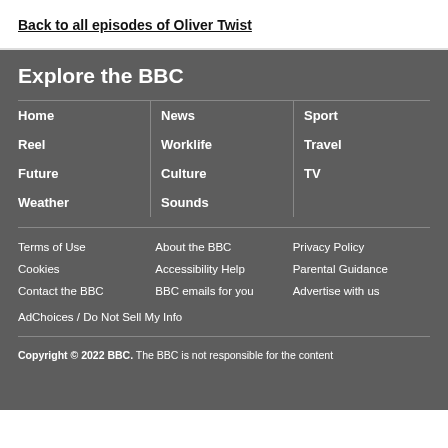Back to all episodes of Oliver Twist
Explore the BBC
Home
News
Sport
Reel
Worklife
Travel
Future
Culture
TV
Weather
Sounds
Terms of Use
About the BBC
Privacy Policy
Cookies
Accessibility Help
Parental Guidance
Contact the BBC
BBC emails for you
Advertise with us
AdChoices / Do Not Sell My Info
Copyright © 2022 BBC. The BBC is not responsible for the content